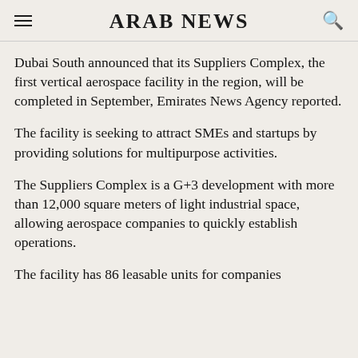ARAB NEWS
Dubai South announced that its Suppliers Complex, the first vertical aerospace facility in the region, will be completed in September, Emirates News Agency reported.
The facility is seeking to attract SMEs and startups by providing solutions for multipurpose activities.
The Suppliers Complex is a G+3 development with more than 12,000 square meters of light industrial space, allowing aerospace companies to quickly establish operations.
The facility has 86 leasable units for companies